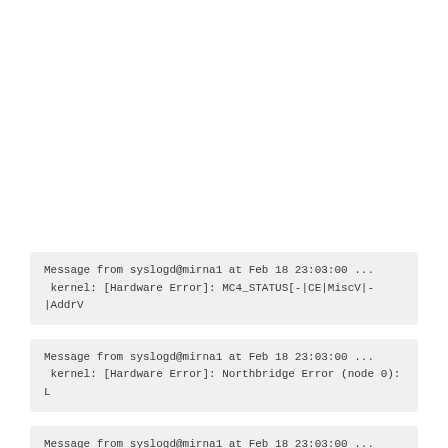Message from syslogd@mirna1 at Feb 18 23:03:00 ...
 kernel: [Hardware Error]: MC4_STATUS[-|CE|MiscV|-|AddrV
Message from syslogd@mirna1 at Feb 18 23:03:00 ...
 kernel: [Hardware Error]: Northbridge Error (node 0): L
Message from syslogd@mirna1 at Feb 18 23:03:00 ...
 kernel: [Hardware Error]: cache level: L3/GEN, tx: GEN,